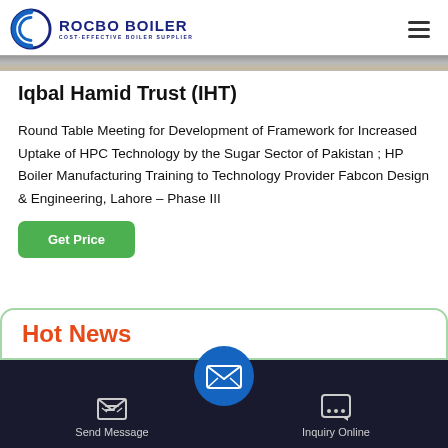[Figure (logo): Rocbo Boiler logo with circular icon and text 'ROCBO BOILER / COST-EFFECTIVE BOILER SUPPLIER']
[Figure (photo): Partial hero image strip showing industrial equipment]
Iqbal Hamid Trust (IHT)
Round Table Meeting for Development of Framework for Increased Uptake of HPC Technology by the Sugar Sector of Pakistan ; HP Boiler Manufacturing Training to Technology Provider Fabcon Design & Engineering, Lahore – Phase III
[Figure (other): Green 'Get Price' button]
Hot News
[Figure (other): Dark bottom navigation bar with 'Send Message' and 'Inquiry Online' buttons and a blue circular email icon in center]